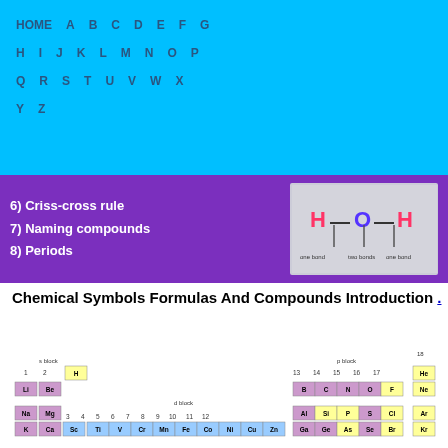HOME A B C D E F G H I J K L M N O P Q R S T U V W X Y Z
[Figure (infographic): Purple banner showing list items: 6) Criss-cross rule, 7) Naming compounds, 8) Periods, with a water molecule bond diagram (H-O-H) showing one bond and two bonds labels]
Chemical Symbols Formulas And Compounds Introduction .
[Figure (infographic): Partial periodic table showing s block, p block, d block sections with elements H, Li, Be, B, C, N, O, F, He, Na, Mg, Al, Si, P, S, Cl, Ar, K, Ca, Sc, Ti, V, Cr, Mn, Fe, Co, Ni, Cu, Zn, Ga, Ge, As, Se, Br, Kr with group numbers 1-18]